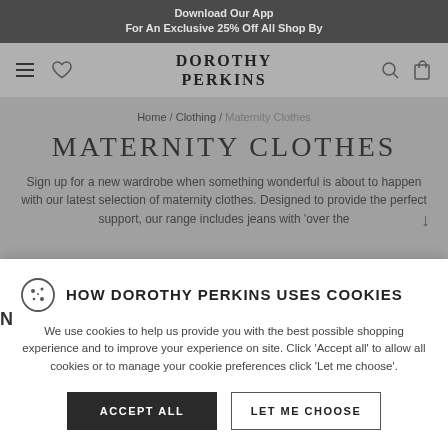Download Our App For An Exclusive 25% Off All Shop By
[Figure (screenshot): Dorothy Perkins website navigation bar with hamburger menu, heart icon, Dorothy Perkins logo, search icon, and bag icon]
Home / Clothing / Maternity Clothes
MATERNITY CLOTHES
Sign up for a new wardrobe when something wonderful is about to happen with our latest selection of maternity clothes. Designed to provide the perfect support, our range includes jeans with 'over the
HOW DOROTHY PERKINS USES COOKIES
We use cookies to help us provide you with the best possible shopping experience and to improve your experience on site. Click 'Accept all' to allow all cookies or to manage your cookie preferences click 'Let me choose'.
ACCEPT ALL
LET ME CHOOSE